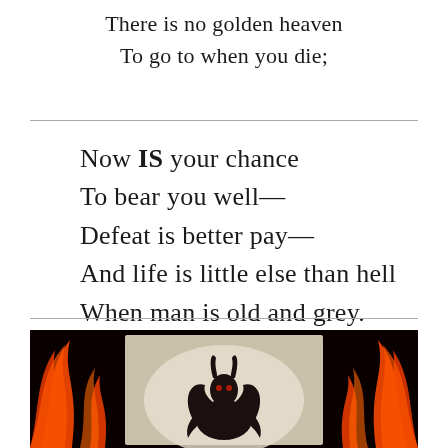There is no golden heaven
To go to when you die;
Now IS your chance
To bear you well—
Defeat is better pay—
And life is little else than hell
When man is old and grey.
[Figure (illustration): A dark illustration of a devil/demon figure bowing or crouching, set against a background of orange and red flames on a black backdrop.]